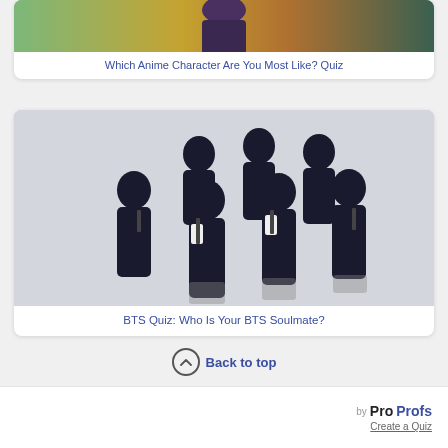[Figure (photo): Anime character image cropped at top]
Which Anime Character Are You Most Like? Quiz
[Figure (photo): Group photo of BTS members in black suits]
BTS Quiz: Who Is Your BTS Soulmate?
Back to top
by ProProfs Create a Quiz